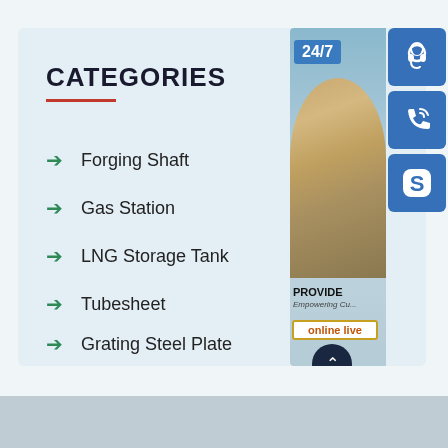CATEGORIES
Forging Shaft
Gas Station
LNG Storage Tank
Tubesheet
Grating Steel Plate
[Figure (infographic): Customer service panel with 24/7 label, woman with headset photo, PROVIDE Empowering Customers text, online live button, scroll-up button, and blue icon buttons for headset, phone, and Skype]